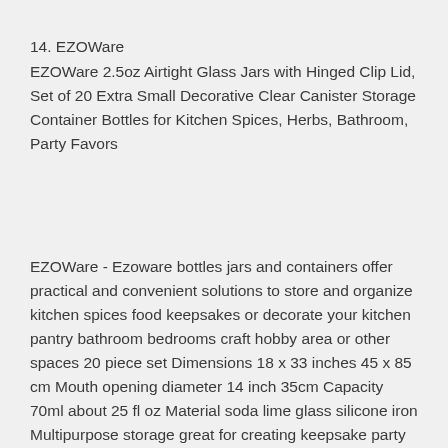14. EZOWare
EZOWare 2.5oz Airtight Glass Jars with Hinged Clip Lid, Set of 20 Extra Small Decorative Clear Canister Storage Container Bottles for Kitchen Spices, Herbs, Bathroom, Party Favors
EZOWare - Ezoware bottles jars and containers offer practical and convenient solutions to store and organize kitchen spices food keepsakes or decorate your kitchen pantry bathroom bedrooms craft hobby area or other spaces 20 piece set Dimensions 18 x 33 inches 45 x 85 cm Mouth opening diameter 14 inch 35cm Capacity 70ml about 25 fl oz Material soda lime glass silicone iron Multipurpose storage great for creating keepsake party